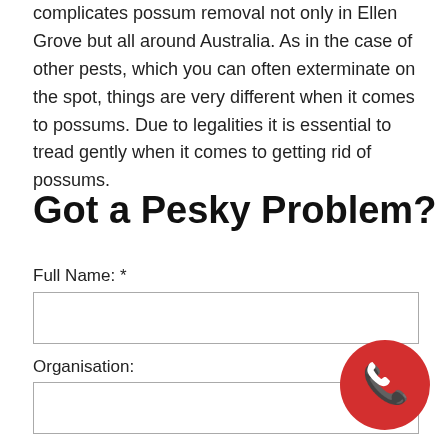complicates possum removal not only in Ellen Grove but all around Australia. As in the case of other pests, which you can often exterminate on the spot, things are very different when it comes to possums. Due to legalities it is essential to tread gently when it comes to getting rid of possums.
Got a Pesky Problem?
Full Name: *
Organisation:
Email Address: *
[Figure (infographic): Red circular button with white phone handset icon]